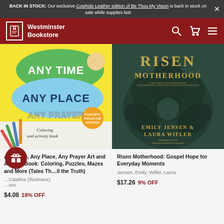BACK IN STOCK: Our exclusive Cowhide Leather edition of Be Thou My Vision is back in stock on sale while supplies last
[Figure (screenshot): Westminster Bookstore navigation bar with logo, search icon, cart icon, and hamburger menu on dark red background]
[Figure (photo): Book cover: Any Time, Any Place, Any Prayer Art and Activity Book: Coloring, Puzzles, Mazes and More (Tales That Tell the Truth) - colorful children's activity book cover]
[Figure (photo): Book cover: Risen Motherhood: Gospel Hope for Everyday Moments by Emily Jensen & Laura Wifler - dark green cover with floral illustration]
Any Time, Any Place, Any Prayer Art and Activity Book: Coloring, Puzzles, Mazes and More (Tales Th...ll the Truth)
Catalina (illustrator); ...ura
$4.08 18% OFF
Risen Motherhood: Gospel Hope for Everyday Moments
Jensen, Emily; Wifler, Laura
$17.26 9% OFF